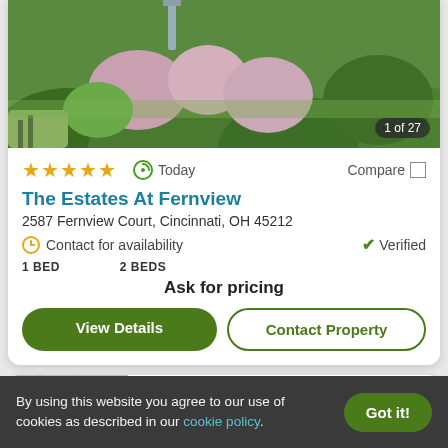[Figure (photo): Outdoor garden area with green bushes and flowering plants, park bench visible]
1 of 27
★★★★★  Today  Compare
The Estates At Fernview
2587 Fernview Court, Cincinnati, OH 45212
Contact for availability
✔ Verified
1 BED     2 BEDS
Ask for pricing
View Details
Contact Property
Top Rated for Location
By using this website you agree to our use of cookies as described in our cookie policy.
Got it!